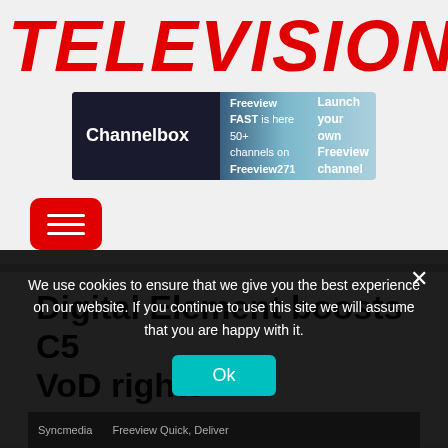TELEVISION
[Figure (infographic): Channelbox advertisement banner: 'Freeview FAST is here 50+ channels on Freeview271 — Launch your own Freeview channel']
[Figure (infographic): Red rounded rectangle hamburger menu button icon with three white horizontal lines]
Digital Element boosts C5 VoD rights management
We use cookies to ensure that we give you the best experience on our website. If you continue to use this site we will assume that you are happy with it.